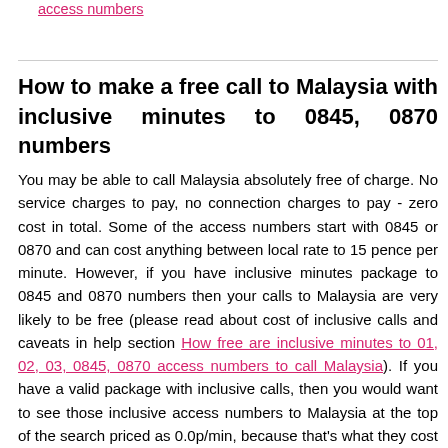access numbers
How to make a free call to Malaysia with inclusive minutes to 0845, 0870 numbers
You may be able to call Malaysia absolutely free of charge. No service charges to pay, no connection charges to pay - zero cost in total. Some of the access numbers start with 0845 or 0870 and can cost anything between local rate to 15 pence per minute. However, if you have inclusive minutes package to 0845 and 0870 numbers then your calls to Malaysia are very likely to be free (please read about cost of inclusive calls and caveats in help section How free are inclusive minutes to 01, 02, 03, 0845, 0870 access numbers to call Malaysia). If you have a valid package with inclusive calls, then you would want to see those inclusive access numbers to Malaysia at the top of the search priced as 0.0p/min, because that's what they cost to you. You can do this by clicking on Optimise search for inclusive calls to 01, 02, 03 numbers or 01, 02, 03, 0845, 0870